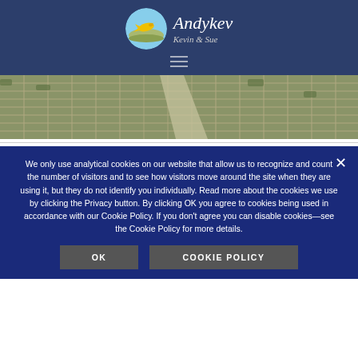Andykev Kevin & Sue
[Figure (photo): Aerial photograph of a city/suburban area with grid streets and a highway cutting diagonally through the center]
We only use analytical cookies on our website that allow us to recognize and count the number of visitors and to see how visitors move around the site when they are using it, but they do not identify you individually. Read more about the cookies we use by clicking the Privacy button. By clicking OK you agree to cookies being used in accordance with our Cookie Policy. If you don't agree you can disable cookies—see the Cookie Policy for more details.
OK
COOKIE POLICY